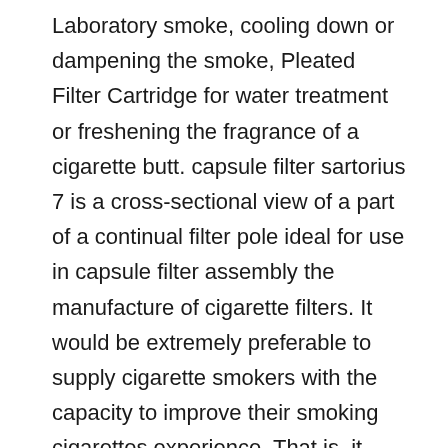Laboratory smoke, cooling down or dampening the smoke, Pleated Filter Cartridge for water treatment or freshening the fragrance of a cigarette butt. capsule filter sartorius 7 is a cross-sectional view of a part of a continual filter pole ideal for use in capsule filter assembly the manufacture of cigarette filters. It would be extremely preferable to supply cigarette smokers with the capacity to improve their smoking cigarettes experience. That is, it would be preferable to provide a cigarette that can precisely give a manner or approach for modifying, in a controlled means, the nature or character of the mainstream smoke produced by that cigarette. In particular, it would be